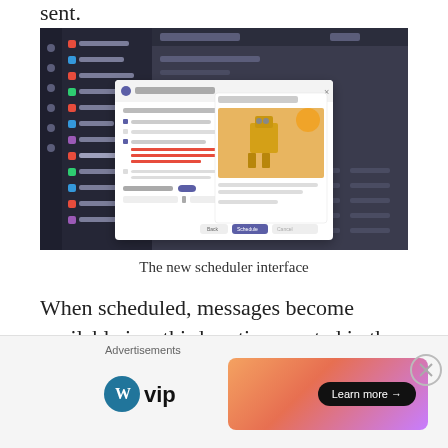sent.
[Figure (screenshot): Screenshot of a Microsoft Teams-like interface showing a scheduler dialog box with a scheduled communication preview including an image of a robot at sunset, scheduling options, and buttons labeled Back, Schedule, and Cancel.]
The new scheduler interface
When scheduled, messages become available in a third section created in the main messages
[Figure (other): Advertisement bar with WordPress VIP logo on the left and a colorful gradient banner with a Learn more arrow button on the right.]